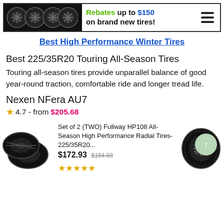[Figure (infographic): Banner advertisement with four black tires on dark background and text: Rebates up to $150 on brand new tires!]
Best High Performance Winter Tires
Best 225/35R20 Touring All-Season Tires
Touring all-season tires provide unparallel balance of good year-round traction, comfortable ride and longer tread life.
Nexen NFera AU7
★4.7 - from $205.68
[Figure (photo): Two black tires product image on left]
Set of 2 (TWO) Fullway HP108 All-Season High Performance Radial Tires-225/35R20... $172.93  $184.68 ★★★★★
[Figure (photo): Single black tire and rim product image on right]